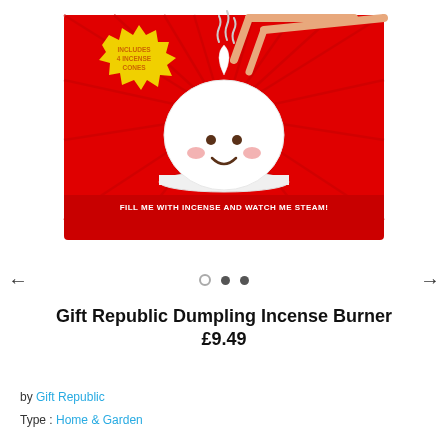[Figure (photo): Product photo of Gift Republic Dumpling Incense Burner box. Red box with cartoon dumpling character with a happy face, chopsticks on top, steam wisps, and text 'FILL ME WITH INCENSE AND WATCH ME STEAM!' A yellow starburst badge reads 'INCLUDES 4 INCENSE CONES'.]
Gift Republic Dumpling Incense Burner £9.49
by Gift Republic
Type: Home & Garden